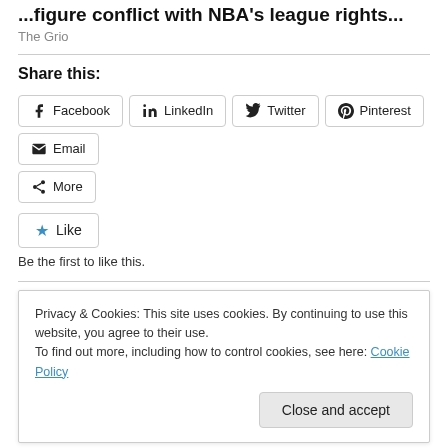...figure conflict with NBA's league rights...
The Grio
Share this:
[Figure (other): Social sharing buttons: Facebook, LinkedIn, Twitter, Pinterest, Email, More]
[Figure (other): Like button with star icon]
Be the first to like this.
Related
Privacy & Cookies: This site uses cookies. By continuing to use this website, you agree to their use. To find out more, including how to control cookies, see here: Cookie Policy
Memphis.